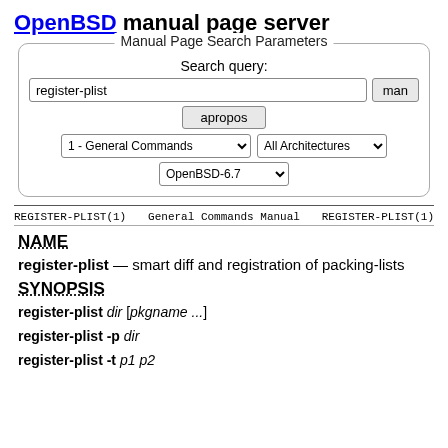OpenBSD manual page server
[Figure (screenshot): Manual Page Search Parameters form with search query input 'register-plist', man button, apropos button, section dropdown '1 - General Commands', architecture dropdown 'All Architectures', OS dropdown 'OpenBSD-6.7']
REGISTER-PLIST(1)   General Commands Manual   REGISTER-PLIST(1)
NAME
register-plist — smart diff and registration of packing-lists
SYNOPSIS
register-plist dir [pkgname ...]
register-plist -p dir
register-plist -t p1 p2